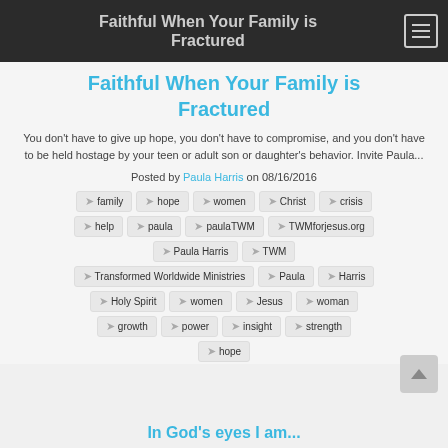Faithful When Your Family is Fractured
Faithful When Your Family is Fractured
You don't have to give up hope, you don't have to compromise, and you don't have to be held hostage by your teen or adult son or daughter's behavior. Invite Paula...
Posted by Paula Harris on 08/16/2016
family
hope
women
Christ
crisis
help
paula
paulaTWM
TWMforjesus.org
Paula Harris
TWM
Transformed Worldwide Ministries
Paula
Harris
Holy Spirit
women
Jesus
woman
growth
power
insight
strength
hope
In God's eyes I am...